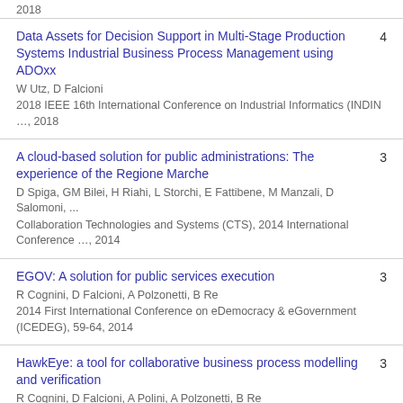2018
Data Assets for Decision Support in Multi-Stage Production Systems Industrial Business Process Management using ADOxx
W Utz, D Falcioni
2018 IEEE 16th International Conference on Industrial Informatics (INDIN …, 2018
4
A cloud-based solution for public administrations: The experience of the Regione Marche
D Spiga, GM Bilei, H Riahi, L Storchi, E Fattibene, M Manzali, D Salomoni, ...
Collaboration Technologies and Systems (CTS), 2014 International Conference …, 2014
3
EGOV: A solution for public services execution
R Cognini, D Falcioni, A Polzonetti, B Re
2014 First International Conference on eDemocracy & eGovernment (ICEDEG), 59-64, 2014
3
HawkEye: a tool for collaborative business process modelling and verification
R Cognini, D Falcioni, A Polini, A Polzonetti, B Re
Proceedings of the 29th Annual ACM Symposium on Applied …
3